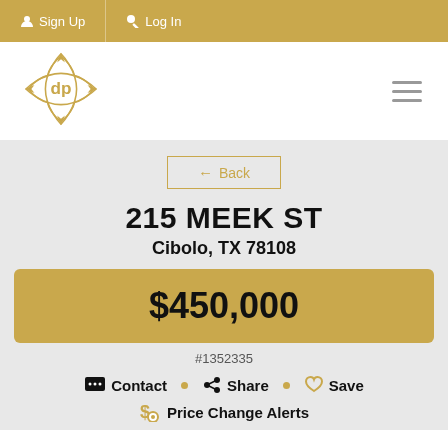Sign Up  Log In
[Figure (logo): Real estate company logo - gold ornate diamond shape with 'dp' letters]
← Back
215 MEEK ST
Cibolo, TX 78108
$450,000
#1352335
Contact  Share  Save
Price Change Alerts